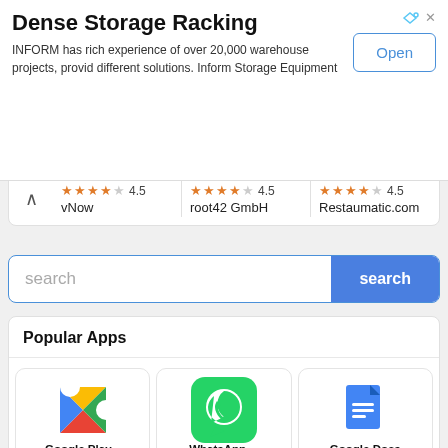[Figure (infographic): Advertisement banner for Dense Storage Racking by INFORM with Open button]
Dense Storage Racking
INFORM has rich experience of over 20,000 warehouse projects, provid different solutions. Inform Storage Equipment
Ratings row: 4.5 stars vNow | 4.5 stars root42 GmbH | 4.5 stars Restaumatic.com
[Figure (screenshot): Search bar with blue search button]
Popular Apps
[Figure (screenshot): App icons: Google Play..., WhatsApp ..., Google Docs with developer names Google LLC, WhatsApp LLC, Google LLC]